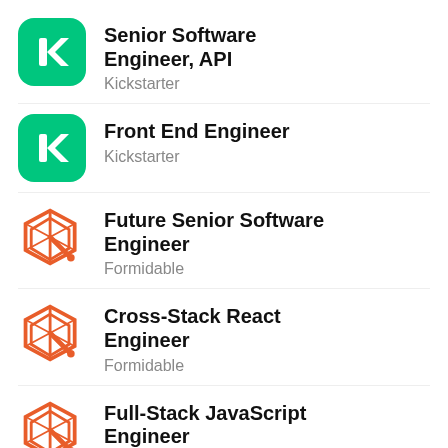Senior Software Engineer, API — Kickstarter
Front End Engineer — Kickstarter
Future Senior Software Engineer — Formidable
Cross-Stack React Engineer — Formidable
Full-Stack JavaScript Engineer — Formidable
Full-Stack Developer W... — (partial)